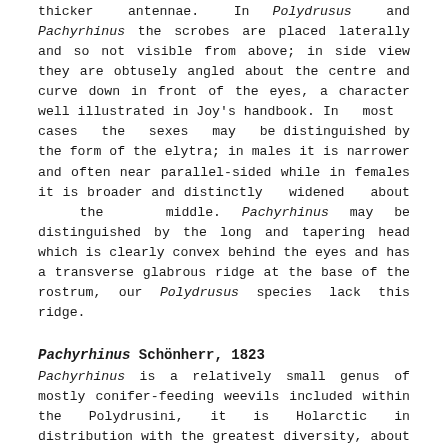thicker antennae. In Polydrusus and Pachyrhinus the scrobes are placed laterally and so not visible from above; in side view they are obtusely angled about the centre and curve down in front of the eyes, a character well illustrated in Joy's handbook. In most cases the sexes may be distinguished by the form of the elytra; in males it is narrower and often near parallel-sided while in females it is broader and distinctly widened about the middle. Pachyrhinus may be distinguished by the long and tapering head which is clearly convex behind the eyes and has a transverse glabrous ridge at the base of the rostrum, our Polydrusus species lack this ridge.
Pachyrhinus Schönherr, 1823
Pachyrhinus is a relatively small genus of mostly conifer-feeding weevils included within the Polydrusini, it is Holarctic in distribution with the greatest diversity, about 30 species in 3 subgenera, occurring in the Palaearctic region; ten species of the nominate subgenus occur in Mediterranean Europe although some of these have recently expanded their range, and three